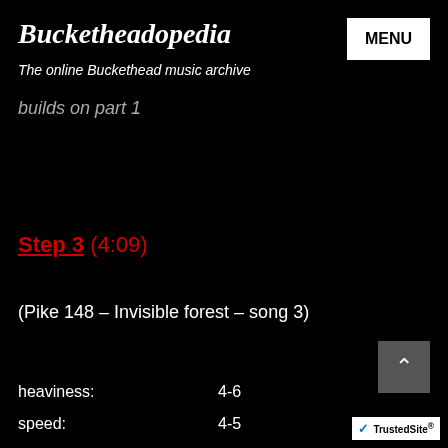Bucketheadopedia
The online Buckethead music archive
builds on part 1
Step 3 (4:09)
(Pike 148 – Invisible forest – song 3)
heaviness:    4-6
speed:    4-5